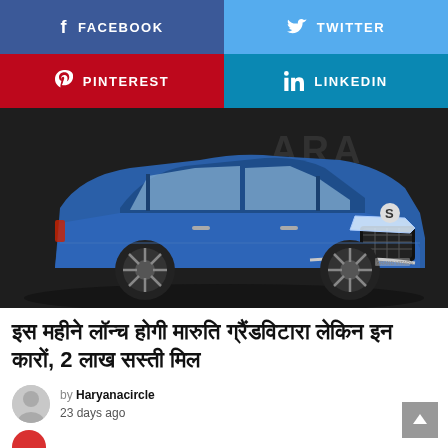[Figure (infographic): Four social media share buttons: Facebook (blue), Twitter (light blue), Pinterest (red), LinkedIn (light blue)]
[Figure (photo): Blue Maruti Suzuki Grand Vitara SUV parked against a dark background with the word VITARA partially visible]
इस महीने लॉन्च होगी मारुति ग्रैंडविटारा लेकिन इन कारों, 2 लाख सस्ती मिल
by Haryanacircle
23 days ago